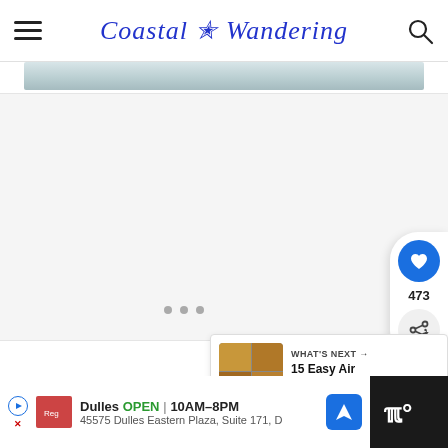Coastal Wandering – navigation header with hamburger menu and search icon
[Figure (photo): Top portion of a photo showing a light-colored coastal/beach scene, partially cropped]
[Figure (photo): Large light gray content/image area, possibly a carousel with 3 dot indicators]
473
WHAT'S NEXT → 15 Easy Air Fryer Fish...
Dulles OPEN | 10AM–8PM
45575 Dulles Eastern Plaza, Suite 171, D